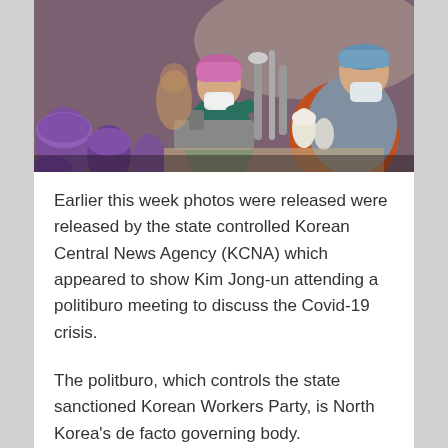[Figure (photo): People wearing face masks working at sewing machines in a factory. Purple spools of thread visible in the foreground. Workers in colorful clothing.]
Earlier this week photos were released were released by the state controlled Korean Central News Agency (KCNA) which appeared to show Kim Jong-un attending a politiburo meeting to discuss the Covid-19 crisis.
The politburo, which controls the state sanctioned Korean Workers Party, is North Korea’s de facto governing body.
Former South Korean diplomat Chang Song-